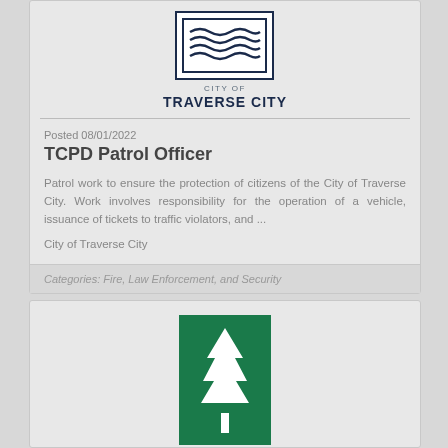[Figure (logo): City of Traverse City logo with wave lines in a square border]
CITY OF TRAVERSE CITY
Posted 08/01/2022
TCPD Patrol Officer
Patrol work to ensure the protection of citizens of the City of Traverse City. Work involves responsibility for the operation of a vehicle, issuance of tickets to traffic violators, and ...
City of Traverse City
Categories: Fire, Law Enforcement, and Security
[Figure (logo): Northwestern Michigan College logo with white pine tree on green background]